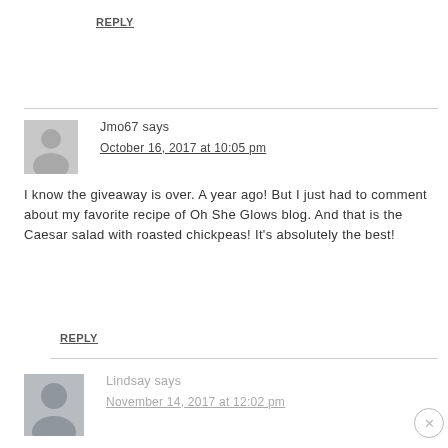REPLY
Jmo67 says
October 16, 2017 at 10:05 pm
I know the giveaway is over. A year ago! But I just had to comment about my favorite recipe of Oh She Glows blog. And that is the Caesar salad with roasted chickpeas! It's absolutely the best!
REPLY
Lindsay says
November 14, 2017 at 12:02 pm